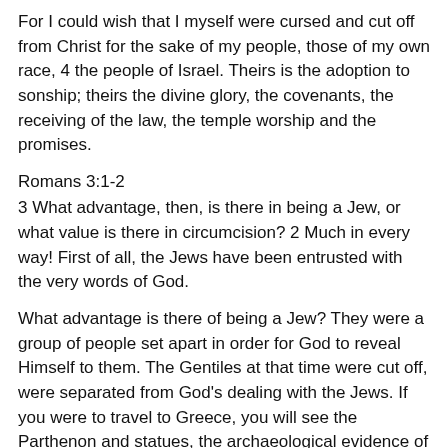For I could wish that I myself were cursed and cut off from Christ for the sake of my people, those of my own race, 4 the people of Israel. Theirs is the adoption to sonship; theirs the divine glory, the covenants, the receiving of the law, the temple worship and the promises.
Romans 3:1-2
3 What advantage, then, is there in being a Jew, or what value is there in circumcision? 2 Much in every way! First of all, the Jews have been entrusted with the very words of God.
What advantage is there of being a Jew? They were a group of people set apart in order for God to reveal Himself to them. The Gentiles at that time were cut off, were separated from God's dealing with the Jews. If you were to travel to Greece, you will see the Parthenon and statues, the archaeological evidence of nothing but heathen worship, with Greek mythology and statues made to look like God. That was the religion of the world. There was heathenism